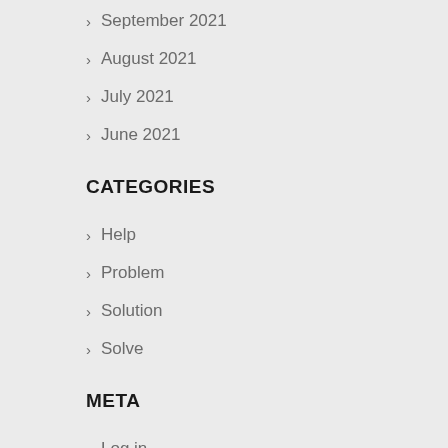September 2021
August 2021
July 2021
June 2021
CATEGORIES
Help
Problem
Solution
Solve
META
Log in
Entries feed
WordPress.org